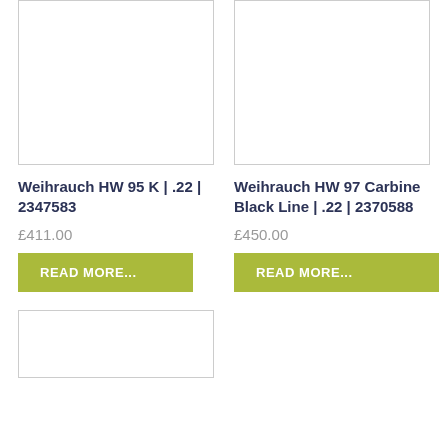[Figure (photo): Product image placeholder box for Weihrauch HW 95 K, white background with light border]
[Figure (photo): Product image placeholder box for Weihrauch HW 97 Carbine Black Line, white background with light border]
Weihrauch HW 95 K | .22 | 2347583
£411.00
READ MORE...
Weihrauch HW 97 Carbine Black Line | .22 | 2370588
£450.00
READ MORE...
[Figure (photo): Partial product image placeholder box at bottom left, white background with light border]